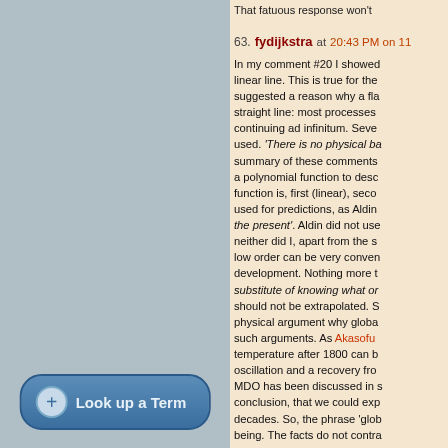That fatuous response won't...
63. fydijkstra at 20:43 PM on 1... In my comment #20 I showed... linear line. This is true for the... suggested a reason why a fla... straight line: most processes... continuing ad infinitum. Seve... used. 'There is no physical ba... summary of these comments... a polynomial function to desco... function is, first (linear), seco... used for predictions, as Aldin... the present'. Aldin did not use... neither did I, apart from the s... low order can be very conven... development. Nothing more t... substitute of knowing what or... should not be extrapolated. S... physical argument why globa... such arguments. As Akasofu... temperature after 1800 can b... oscillation and a recovery fro... MDO has been discussed in s... conclusion, that we could exp... decades. So, the phrase 'glob... being. The facts do not contra...
Look up a Term